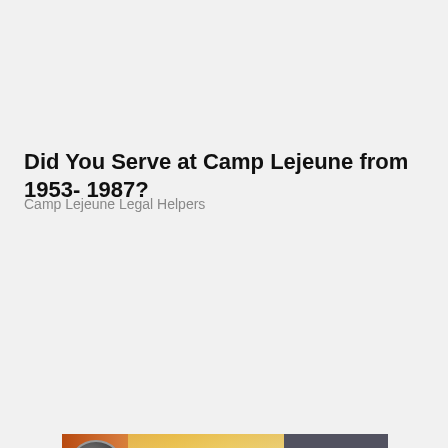Did You Serve at Camp Lejeune from 1953- 1987?
Camp Lejeune Legal Helpers
[Figure (screenshot): Video player with error message: No compatible source was found for this media. Shows a large X icon in the center and a close button in the top right corner.]
[Figure (photo): Bottom portion showing advertisement image with airplane engine on left and yellow/orange aircraft livery, alongside a dark banner with text WITHOUT REGARD TO on the right.]